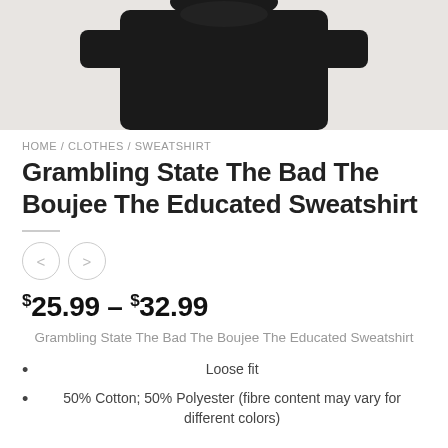[Figure (photo): Partial product photo showing the top portion of a black sweatshirt on a light beige/gray background, cropped at the top of the page.]
HOME / CLOTHES / SWEATSHIRT
Grambling State The Bad The Boujee The Educated Sweatshirt
$25.99 – $32.99
Grambling State The Bad The Boujee The Educated Sweatshirt
Loose fit
50% Cotton; 50% Polyester (fibre content may vary for different colors)